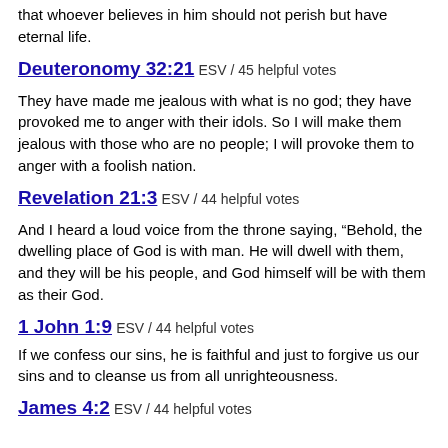that whoever believes in him should not perish but have eternal life.
Deuteronomy 32:21 ESV / 45 helpful votes
They have made me jealous with what is no god; they have provoked me to anger with their idols. So I will make them jealous with those who are no people; I will provoke them to anger with a foolish nation.
Revelation 21:3 ESV / 44 helpful votes
And I heard a loud voice from the throne saying, “Behold, the dwelling place of God is with man. He will dwell with them, and they will be his people, and God himself will be with them as their God.
1 John 1:9 ESV / 44 helpful votes
If we confess our sins, he is faithful and just to forgive us our sins and to cleanse us from all unrighteousness.
James 4:2 ESV / 44 helpful votes